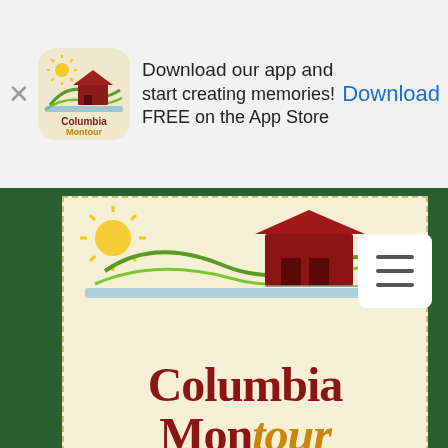[Figure (screenshot): App download banner with Columbia Montour app icon, text 'Download our app and start creating memories! FREE on the App Store', and a Download button on the right.]
[Figure (logo): Columbia Montour Visitors Bureau logo — cream/yellow background with dashed border, featuring a red barn covered bridge, sun rays, hills, and stylized text 'Columbia Montour VISITORS BUREAU' in red and gold lettering.]
[Figure (photo): Close-up food photo of a gourmet burger with multiple patties, melted white cheese, caramelized onions, mushrooms, bacon, red onion, tomato, lettuce on a brioche bun, served with steak fries, dark background.]